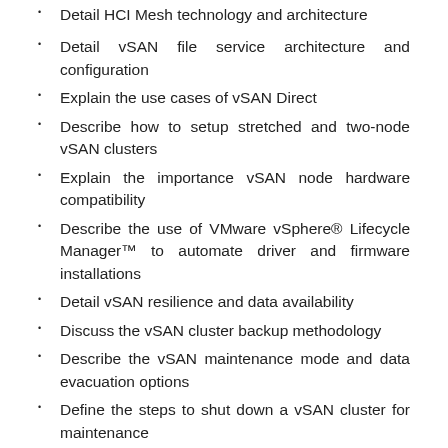Detail HCI Mesh technology and architecture
Detail vSAN file service architecture and configuration
Explain the use cases of vSAN Direct
Describe how to setup stretched and two-node vSAN clusters
Explain the importance vSAN node hardware compatibility
Describe the use of VMware vSphere® Lifecycle Manager™ to automate driver and firmware installations
Detail vSAN resilience and data availability
Discuss the vSAN cluster backup methodology
Describe the vSAN maintenance mode and data evacuation options
Define the steps to shut down a vSAN cluster for maintenance